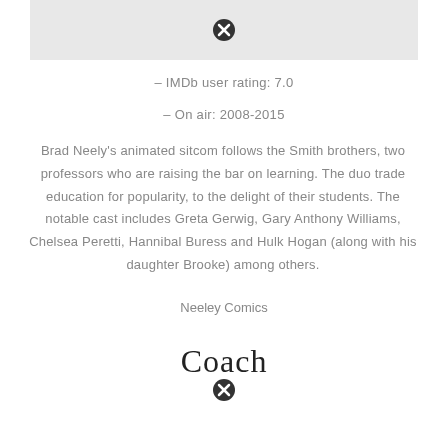[Figure (other): Placeholder image with close/error icon]
– IMDb user rating: 7.0
– On air: 2008-2015
Brad Neely's animated sitcom follows the Smith brothers, two professors who are raising the bar on learning. The duo trade education for popularity, to the delight of their students. The notable cast includes Greta Gerwig, Gary Anthony Williams, Chelsea Peretti, Hannibal Buress and Hulk Hogan (along with his daughter Brooke) among others.
Neeley Comics
Coach